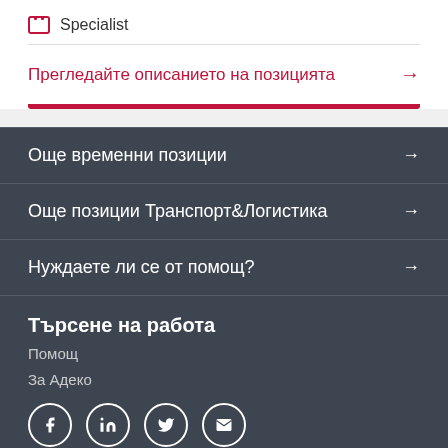Specialist
Прегледайте описанието на позицията →
Още временни позиции →
Още позиции Транспорт&Логистика →
Нуждаете ли се от помощ? →
Търсене на работа
Помощ
За Адеко